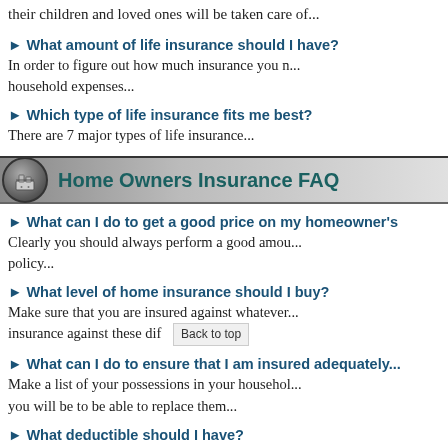their children and loved ones will be taken care of...
► What amount of life insurance should I have?
In order to figure out how much insurance you need, start by looking at your household expenses...
► Which type of life insurance fits me best?
There are 7 major types of life insurance...
Home Owners Insurance FAQ
► What can I do to get a good price on my homeowner's...
Clearly you should always perform a good amount of research before selecting a policy...
► What level of home insurance should I buy?
Make sure that you are insured against whatever... insurance against these dif   Back to top
► What can I do to ensure that I am insured adequately...
Make a list of your possessions in your household... you will be to be able to replace them...
► What deductible should I have?
It is always a good idea to keep the deductible as...